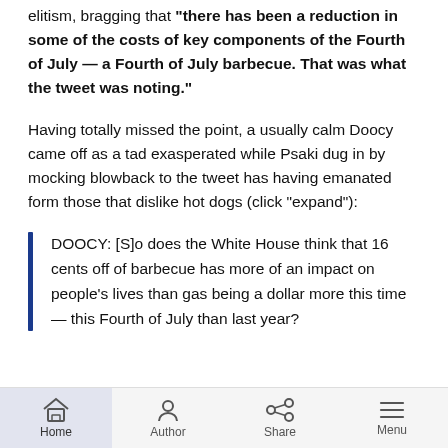elitism, bragging that "there has been a reduction in some of the costs of key components of the Fourth of July — a Fourth of July barbecue. That was what the tweet was noting."
Having totally missed the point, a usually calm Doocy came off as a tad exasperated while Psaki dug in by mocking blowback to the tweet has having emanated form those that dislike hot dogs (click "expand"):
DOOCY: [S]o does the White House think that 16 cents off of barbecue has more of an impact on people's lives than gas being a dollar more this time — this Fourth of July than last year?
Home  Author  Share  Menu